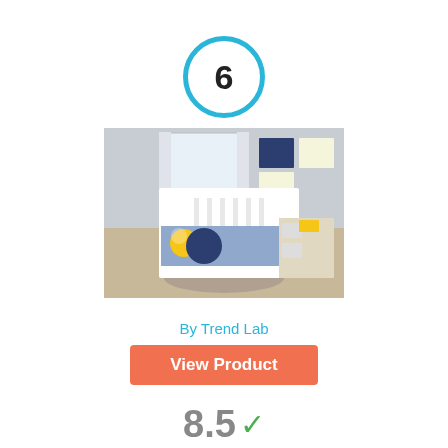6
[Figure (photo): Product photo of Trend Lab Galaxy 3 Piece Crib Bedding Set showing a nursery with a white crib, space-themed bedding in blue, gray, and yellow, with matching wall art.]
Trend Lab Galaxy 3 Piece Crib Bedding Set, Blue/Gray/Yellow
By Trend Lab
View Product
8.5
Score